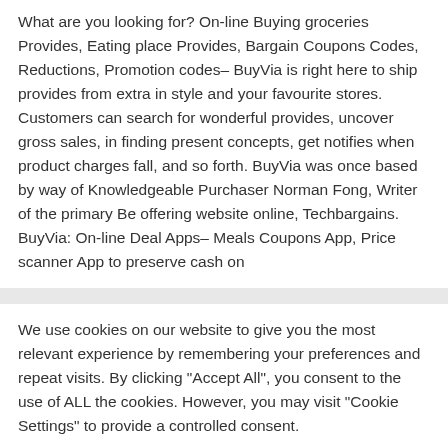What are you looking for? On-line Buying groceries Provides, Eating place Provides, Bargain Coupons Codes, Reductions, Promotion codes– BuyVia is right here to ship provides from extra in style and your favourite stores. Customers can search for wonderful provides, uncover gross sales, in finding present concepts, get notifies when product charges fall, and so forth. BuyVia was once based by way of Knowledgeable Purchaser Norman Fong, Writer of the primary Be offering website online, Techbargains. BuyVia: On-line Deal Apps– Meals Coupons App, Price scanner App to preserve cash on
We use cookies on our website to give you the most relevant experience by remembering your preferences and repeat visits. By clicking "Accept All", you consent to the use of ALL the cookies. However, you may visit "Cookie Settings" to provide a controlled consent.